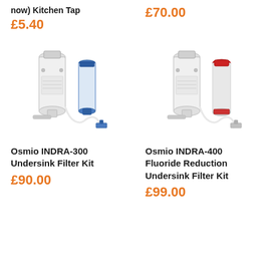now) Kitchen Tap
£5.40
£70.00
[Figure (photo): Osmio INDRA-300 Undersink Filter Kit product photo showing white filter housing with blue filter cartridge, tubing and fittings]
[Figure (photo): Osmio INDRA-400 Fluoride Reduction Undersink Filter Kit product photo showing white filter housing with red-capped white filter cartridge, tubing and fittings]
Osmio INDRA-300 Undersink Filter Kit
£90.00
Osmio INDRA-400 Fluoride Reduction Undersink Filter Kit
£99.00